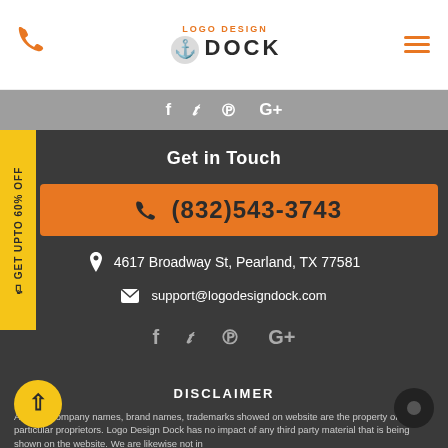[Figure (logo): Logo Design Dock logo with anchor icon, orange and dark text]
[Figure (infographic): Gray social icons bar with f, twitter bird, pinterest, google+ icons]
GET UPTO 60% OFF
Get in Touch
(832)543-3743
4617 Broadway St, Pearland, TX 77581
support@logodesigndock.com
[Figure (infographic): Social icons: facebook, twitter, pinterest, google+]
DISCLAIMER
All party company names, brand names, trademarks showed on website are the property of their particular proprietors. Logo Design Dock has no impact of any third party material that is being shown on the website. We are likewise not in